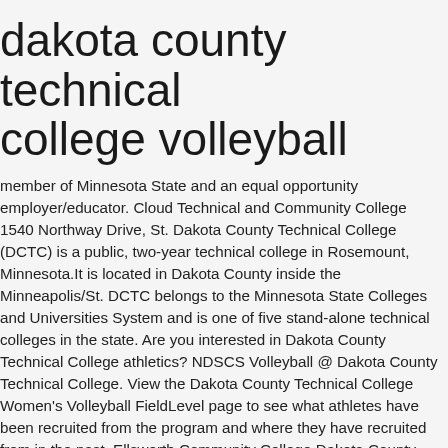dakota county technical college volleyball
member of Minnesota State and an equal opportunity employer/educator. Cloud Technical and Community College 1540 Northway Drive, St. Dakota County Technical College (DCTC) is a public, two-year technical college in Rosemount, Minnesota.It is located in Dakota County inside the Minneapolis/St. DCTC belongs to the Minnesota State Colleges and Universities System and is one of five stand-alone technical colleges in the state. Are you interested in Dakota County Technical College athletics? NDSCS Volleyball @ Dakota County Technical College. View the Dakota County Technical College Women's Volleyball FieldLevel page to see what athletes have been recruited from the program and where they have recruited from in the past. Ellsworth Community College Dakota County Technical College; Field Goal: 26-70 29-74 Field Goal % 37.1% 39.2% 3 Point: 4-23 9-31 3 Point % 17.4% 29.0% Free Throw: 8-15 11-14 Free Throw % 53.3% 78.6% Rebounds: 44: 43: Assists: 14: 15: Turnovers: 16: 7 Home to rock star students, faculty and staff. Cloud, MN 56303 Contact Info: (320) 308-5000 or 1-800-222-1009. Here you'll get information